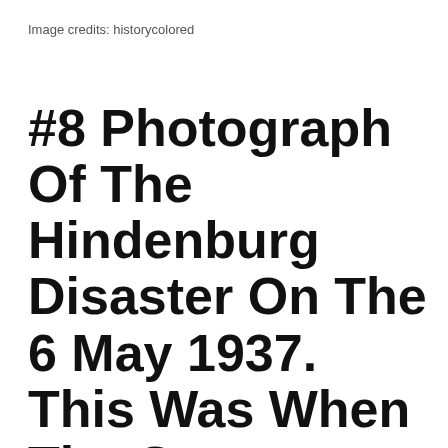Image credits: historycolored
#8 Photograph Of The Hindenburg Disaster On The 6 May 1937. This Was When The German Passenger Airship Lz 129